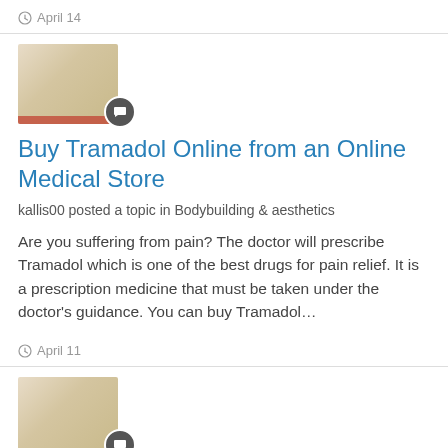April 14
[Figure (photo): Thumbnail image of a bowl/dish with a comment badge overlay]
Buy Tramadol Online from an Online Medical Store
kallis00 posted a topic in Bodybuilding & aesthetics
Are you suffering from pain? The doctor will prescribe Tramadol which is one of the best drugs for pain relief. It is a prescription medicine that must be taken under the doctor's guidance. You can buy Tramadol…
April 11
[Figure (photo): Thumbnail image of a bowl/dish with a comment badge overlay]
Buy Percocet 10mg Online In USA With PayPal - Overnight Delivery
kallis00 posted a topic in Bodybuilding & aesthetics